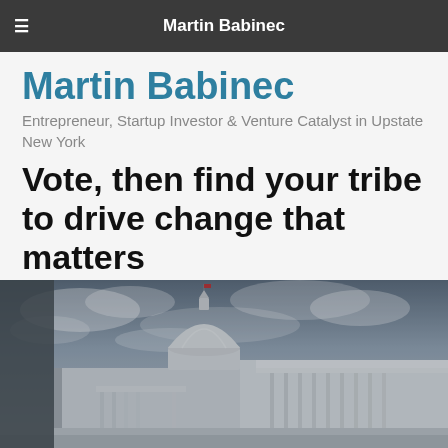Martin Babinec
Martin Babinec
Entrepreneur, Startup Investor & Venture Catalyst in Upstate New York
Vote, then find your tribe to drive change that matters
Posted on Tuesday, November 3rd, 2020.
[Figure (photo): Photograph of the United States Capitol building dome against a dramatic cloudy sky, taken from a low angle showing the classical columned facade on the right side.]